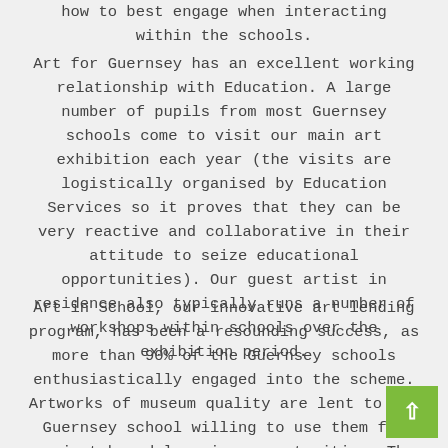how to best engage when interacting within the schools.
Art for Guernsey has an excellent working relationship with Education. A large number of pupils from most Guernsey schools come to visit our main art exhibition each year (the visits are logistically organised by Education Services so it proves that they can be very reactive and collaborative in their attitude to seize educational opportunities). Our guest artist in residence also typically runs a number of workshops within schools over the exhibition period.
Art in School, our innovative art lending program, has been a resounding success, as more than 90% of the Guernsey schools enthusiastically engaged into the scheme. Artworks of museum quality are lent to any Guernsey school willing to use them for project based learning opportunities. The artworks stay in residence with the schools for one term and constitute starting points – not only for art lessons, but for